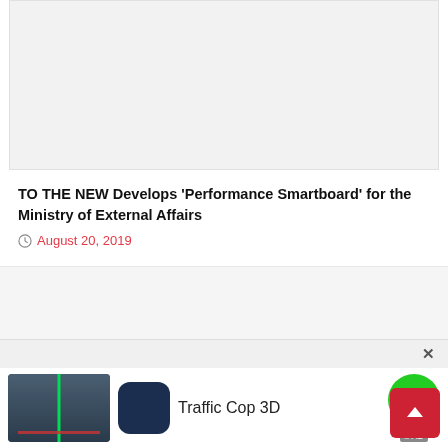[Figure (screenshot): Gray placeholder image area at top of article]
TO THE NEW Develops ‘Performance Smartboard’ for the Ministry of External Affairs
August 20, 2019
[Figure (screenshot): Advertisement banner for Traffic Cop 3D app showing game screenshot, app icon, app name, download button, and AD badge. Has close (X) button.]